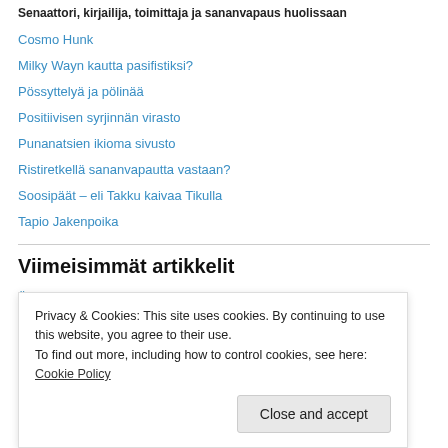Senaattori, kirjailija, toimittaja ja sananvapaus huolissaan
Cosmo Hunk
Milky Wayn kautta pasifistiksi?
Pössyttelyä ja pölinää
Positiivisen syrjinnän virasto
Punanatsien ikioma sivusto
Ristiretkellä sananvapautta vastaan?
Soosipäät – eli Takku kaivaa Tikulla
Tapio Jakenpoika
Viimeisimmät artikkelit
Äärivasemmisto – Rahan kukat
Privacy & Cookies: This site uses cookies. By continuing to use this website, you agree to their use. To find out more, including how to control cookies, see here: Cookie Policy
Porissa, Elokuu 2010, pään avaus